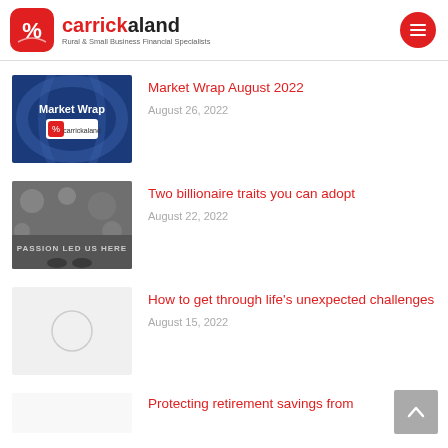carrickaland — Rural & Small Business Financial Specialists
Market Wrap August 2022
August 26, 2022
Two billionaire traits you can adopt
August 22, 2022
How to get through life's unexpected challenges
August 15, 2022
Protecting retirement savings from